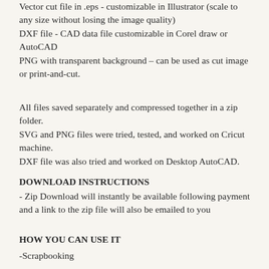Vector cut file in .eps - customizable in Illustrator (scale to any size without losing the image quality)
DXF file - CAD data file customizable in Corel draw or AutoCAD
PNG with transparent background – can be used as cut image or print-and-cut.
All files saved separately and compressed together in a zip folder.
SVG and PNG files were tried, tested, and worked on Cricut machine.
DXF file was also tried and worked on Desktop AutoCAD.
DOWNLOAD INSTRUCTIONS
- Zip Download will instantly be available following payment and a link to the zip file will also be emailed to you
HOW YOU CAN USE IT
-Scrapbooking